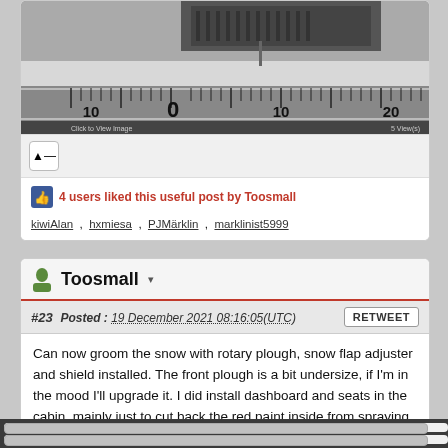[Figure (photo): Close-up photo of a model train or vehicle sitting on a ruler/scale, showing measurement markings including 10, 0, 10, 20. The object appears to be in snow. Text overlay: 'Click to View Image' and '5 View(s)']
4 users liked this useful post by Toosmall
kiwiAlan , hxmiesa , PJMärklin , marklinist5999
Toosmall ▾
#23   Posted : 19 December 2021 08:16:05(UTC)
Can now groom the snow with rotary plough, snow flap adjuster and shield installed. The front plough is a bit undersize, if I'm in the mood I'll upgrade it. I did install dashboard and seats in the cabin, mainly just to cut back the red paint inside from spraying.
[Figure (photo): Partial view of an image showing blue sky and green trees at the bottom]